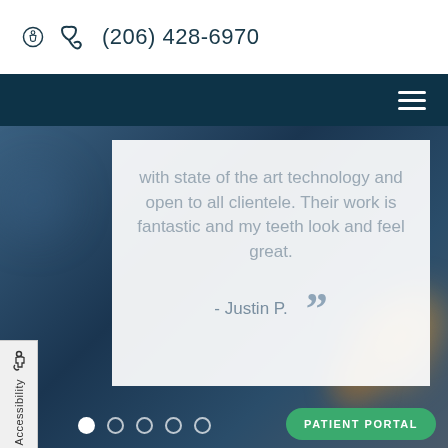(206) 428-6970
with state of the art technology and open to all clientele. Their work is fantastic and my teeth look and feel great.
- Justin P.
Accessibility
PATIENT PORTAL